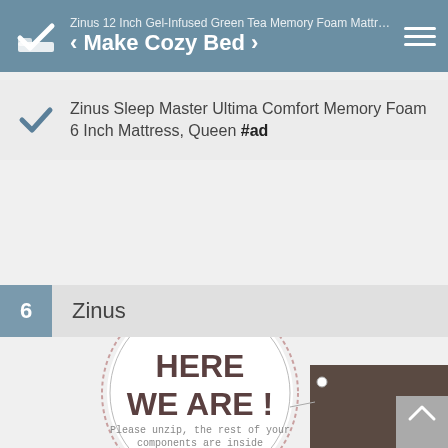Zinus 12 Inch Gel-Infused Green Tea Memory Foam Mattress, Q... · Make Cozy Bed ·
Zinus Sleep Master Ultima Comfort Memory Foam 6 Inch Mattress, Queen #ad
6  Zinus
[Figure (photo): Circular badge with text 'HERE WE ARE!' and subtext 'Please unzip, the rest of your components are inside', overlaid on a mattress product image]